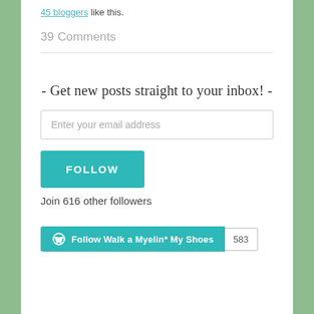45 bloggers like this.
39 Comments
- Get new posts straight to your inbox! -
Enter your email address
FOLLOW
Join 616 other followers
[Figure (other): WordPress Follow button widget showing 'Follow Walk a Myelin* My Shoes' with count 583]